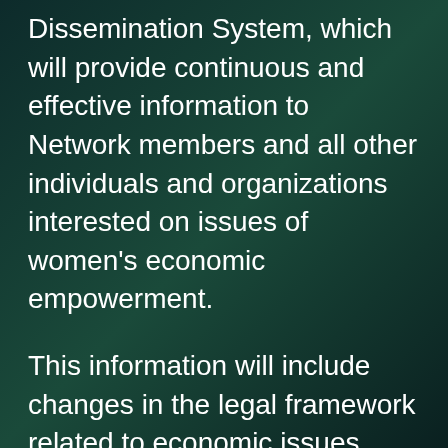Dissemination System, which will provide continuous and effective information to Network members and all other individuals and organizations interested on issues of women's economic empowerment.
This information will include changes in the legal framework related to economic issues, public programs and policies related to women's economic empowerment, loan and credit opportunities, training opportunities and experience exchange inside Kosova and abroad, as well as opportunities for